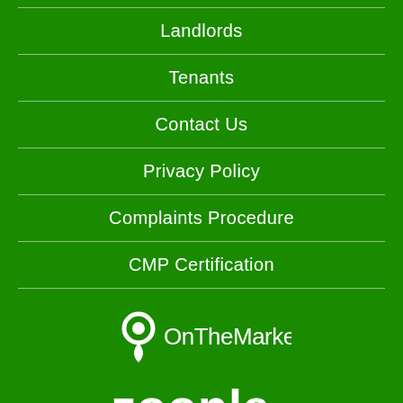Landlords
Tenants
Contact Us
Privacy Policy
Complaints Procedure
CMP Certification
[Figure (logo): OnTheMarket logo - location pin icon with text OnTheMarket in white on green background]
[Figure (logo): Zoopla logo - text zoopla in white bold rounded font on green background]